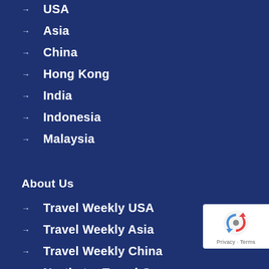→ USA
→ Asia
→ China
→ Hong Kong
→ India
→ Indonesia
→ Malaysia
About Us
→ Travel Weekly USA
→ Travel Weekly Asia
→ Travel Weekly China
→ Northstar Travel Group